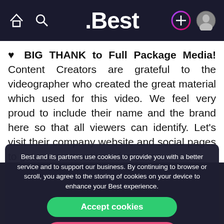.Best
❤ BIG THANK to Full Package Media! Content Creators are grateful to the videographer who created the great material which used for this video. We feel very proud to include their name and the brand here so that all viewers can identify. Let's visit their company website and social pages to get more attractive information.
------------------------
Best and its partners use cookies to provide you with a better service and to support our business. By continuing to browse or scroll, you agree to the storing of cookies on your device to enhance your Best experience.
Accept cookies
Only essentials
Learn more about our privacy policy.
** Price : $11,5...
** Beds : 6
** Baths : 9
** Living : 13,104 sqf...
** Lot size : 1.19 Acr...
** Built : 2022
** Descripti...